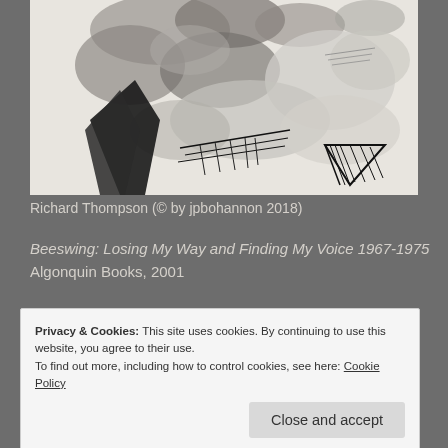[Figure (illustration): Ink wash and pen drawing of abstract landscape with dark mountain/tree shapes and gestural marks on a light background]
Richard Thompson  (© by jpbohannon 2018)
Beeswing: Losing My Way and Finding My Voice 1967-1975
Algonquin Books, 2001
Privacy & Cookies: This site uses cookies. By continuing to use this website, you agree to their use.
To find out more, including how to control cookies, see here: Cookie Policy
Close and accept